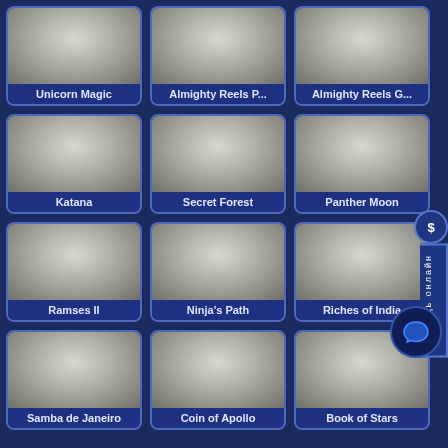[Figure (screenshot): Grid of casino/slot game thumbnails with blue card borders and labels. Row 1: Unicorn Magic, Almighty Reels P..., Almighty Reels G... Row 2: Katana, Secret Forest, Panther Moon. Row 3: Ramses II, Ninja's Path, Riches of India (partially obscured). Row 4: Samba de Janeiro, Coin of Apollo, Book of Stars. Row 5 (partial): three more unlabeled. A side widget on the right reads Помощь онлайн.]